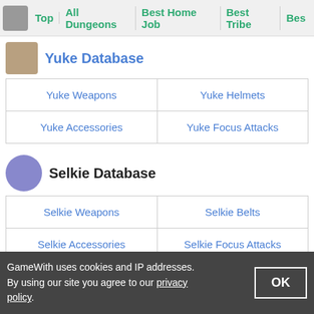Top | All Dungeons | Best Home Job | Best Tribe | Bes...
Yuke Database
| Yuke Weapons | Yuke Helmets |
| Yuke Accessories | Yuke Focus Attacks |
Selkie Database
| Selkie Weapons | Selkie Belts |
| Selkie Accessories | Selkie Focus Attacks |
Towns & Shops
| Tipa | Port Tipa |
| Marc's Pass | Jegon River |
GameWith uses cookies and IP addresses. By using our site you agree to our privacy policy.